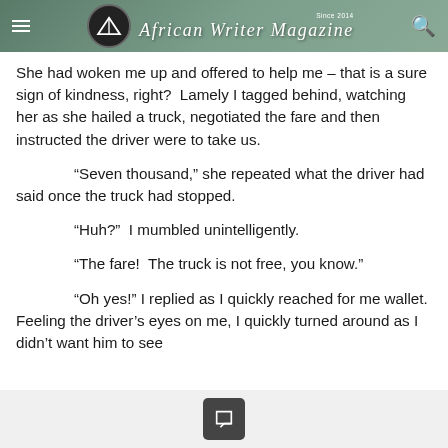African Writer Magazine — Since 2014
She had woken me up and offered to help me – that is a sure sign of kindness, right?  Lamely I tagged behind, watching her as she hailed a truck, negotiated the fare and then instructed the driver were to take us.
“Seven thousand,” she repeated what the driver had said once the truck had stopped.
“Huh?”  I mumbled unintelligently.
“The fare!  The truck is not free, you know.”
“Oh yes!” I replied as I quickly reached for me wallet.  Feeling the driver’s eyes on me, I quickly turned around as I didn’t want him to see